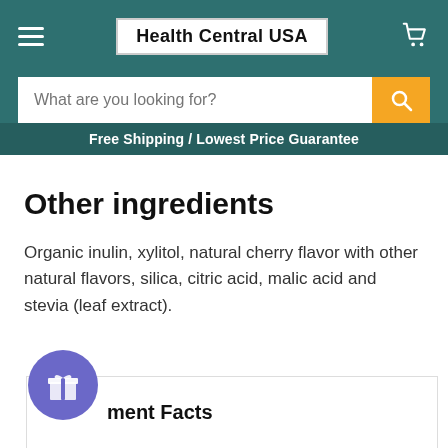Health Central USA
What are you looking for?
Free Shipping / Lowest Price Guarantee
Other ingredients
Organic inulin, xylitol, natural cherry flavor with other natural flavors, silica, citric acid, malic acid and stevia (leaf extract).
ment Facts